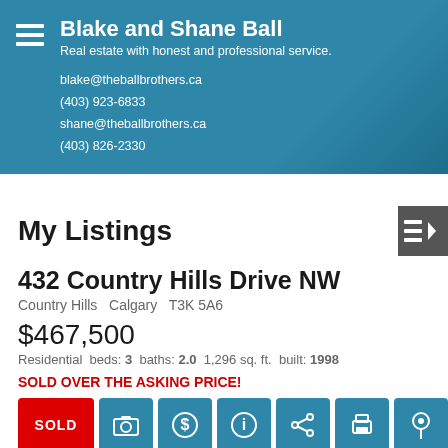Blake and Shane Ball
Real estate with honest and professional service.
blake@theballbrothers.ca
(403) 923-6833
shane@theballbrothers.ca
(403) 826-2330
My Listings
432 Country Hills Drive NW
Country Hills  Calgary  T3K 5A6
$467,500
Residential beds: 3 baths: 2.0  1,296 sq. ft.  built: 1998
SOLD OVER THE ASKING PRICE!
SOLD
Detail Photos...